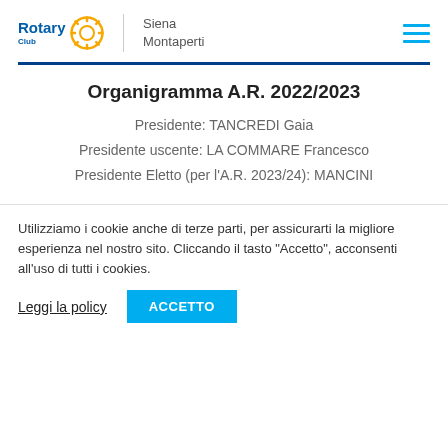Rotary Club | Siena Montaperti
Organigramma A.R. 2022/2023
Presidente: TANCREDI Gaia
Presidente uscente: LA COMMARE Francesco
Presidente Eletto (per l'A.R. 2023/24): MANCINI
Utilizziamo i cookie anche di terze parti, per assicurarti la migliore esperienza nel nostro sito. Cliccando il tasto "Accetto", acconsenti all'uso di tutti i cookies.
Leggi la policy | ACCETTO